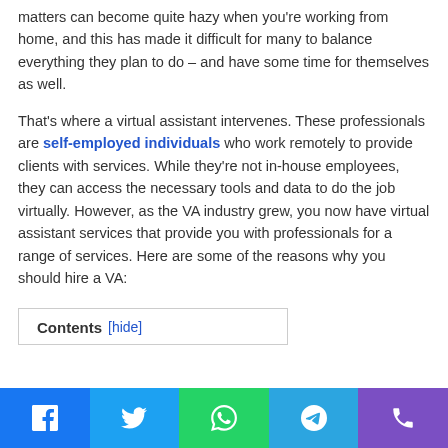matters can become quite hazy when you're working from home, and this has made it difficult for many to balance everything they plan to do – and have some time for themselves as well.
That's where a virtual assistant intervenes. These professionals are self-employed individuals who work remotely to provide clients with services. While they're not in-house employees, they can access the necessary tools and data to do the job virtually. However, as the VA industry grew, you now have virtual assistant services that provide you with professionals for a range of services. Here are some of the reasons why you should hire a VA:
Contents [hide]
Social share bar: Facebook, Twitter, WhatsApp, Telegram, Phone